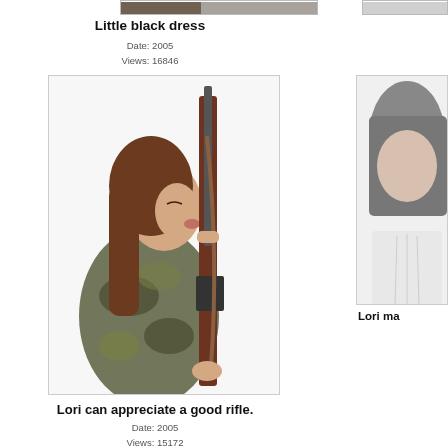[Figure (photo): Partial cropped photo at top left, partially visible]
[Figure (photo): Partial cropped photo at top right, partially visible]
Little black dress
Date: 2005
Views: 16846
[Figure (photo): Woman in camouflage jacket kissing/holding a rifle upright against white background]
[Figure (photo): Partial right-side photo of a woman with dark hair in white clothing against white background]
Lori can appreciate a good rifle.
Date: 2005
Views: 15172
Lori ma